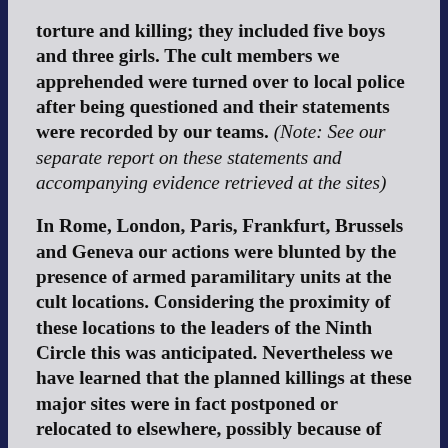torture and killing; they included five boys and three girls. The cult members we apprehended were turned over to local police after being questioned and their statements were recorded by our teams. (Note: See our separate report on these statements and accompanying evidence retrieved at the sites)
In Rome, London, Paris, Frankfurt, Brussels and Geneva our actions were blunted by the presence of armed paramilitary units at the cult locations. Considering the proximity of these locations to the leaders of the Ninth Circle this was anticipated. Nevertheless we have learned that the planned killings at these major sites were in fact postponed or relocated to elsewhere, possibly because of the public announcement of these locations.